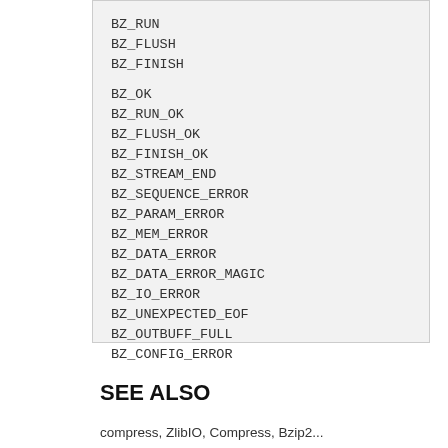BZ_RUN
BZ_FLUSH
BZ_FINISH

BZ_OK
BZ_RUN_OK
BZ_FLUSH_OK
BZ_FINISH_OK
BZ_STREAM_END
BZ_SEQUENCE_ERROR
BZ_PARAM_ERROR
BZ_MEM_ERROR
BZ_DATA_ERROR
BZ_DATA_ERROR_MAGIC
BZ_IO_ERROR
BZ_UNEXPECTED_EOF
BZ_OUTBUFF_FULL
BZ_CONFIG_ERROR
SEE ALSO
compress, ZlibIO, Compress, Bzip2...